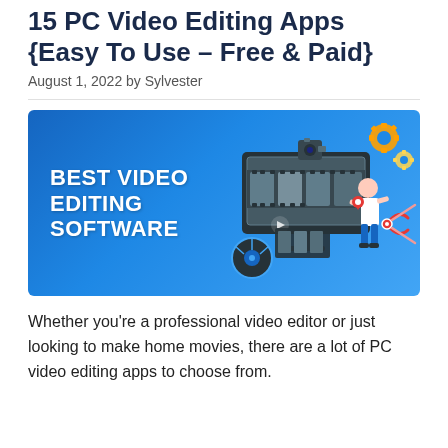15 PC Video Editing Apps {Easy To Use – Free & Paid}
August 1, 2022 by Sylvester
[Figure (illustration): Promotional banner with blue background, bold white text 'BEST VIDEO EDITING SOFTWARE', and an illustration of a computer monitor displaying video film strips, a person holding a film reel, scissors, gear icons, and a robot/camera on top.]
Whether you're a professional video editor or just looking to make home movies, there are a lot of PC video editing apps to choose from.